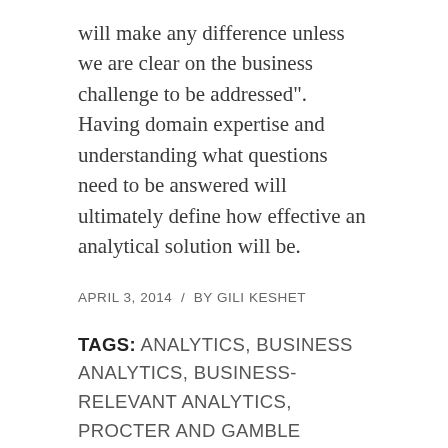will make any difference unless we are clear on the business challenge to be addressed". Having domain expertise and understanding what questions need to be answered will ultimately define how effective an analytical solution will be.
APRIL 3, 2014  /  BY GILI KESHET
TAGS: ANALYTICS, BUSINESS ANALYTICS, BUSINESS-RELEVANT ANALYTICS, PROCTER AND GAMBLE
Share this entry